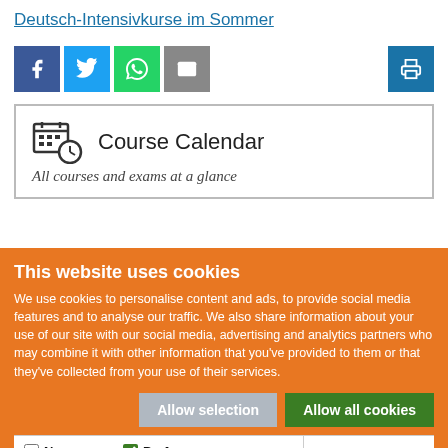Deutsch-Intensivkurse im Sommer
[Figure (screenshot): Social media sharing buttons: Facebook (blue), Twitter (blue), WhatsApp (green), Email (grey), and a print button (blue) on the right]
Course Calendar
All courses and exams at a glance
This website uses cookies
We use cookies to personalise content and ads, to provide social media features and to analyse our traffic. We also share information about your use of our site with our social media, advertising and analytics partners who may combine it with other information that you've provided to them or that they've collected from your use of their services.
Allow selection | Allow all cookies
Necessary | Preferences | Statistics | Marketing | Cookie preferences